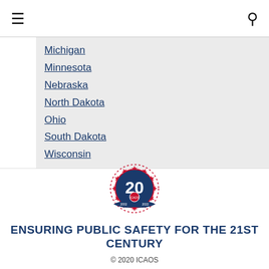☰  🔍
Michigan
Minnesota
Nebraska
North Dakota
Ohio
South Dakota
Wisconsin
[Figure (logo): ICAOS 20th anniversary emblem — circular badge with '20' in center, stars around the border, blue ribbon banner at bottom, red and blue coloring]
ENSURING PUBLIC SAFETY FOR THE 21ST CENTURY
© 2020 ICAOS